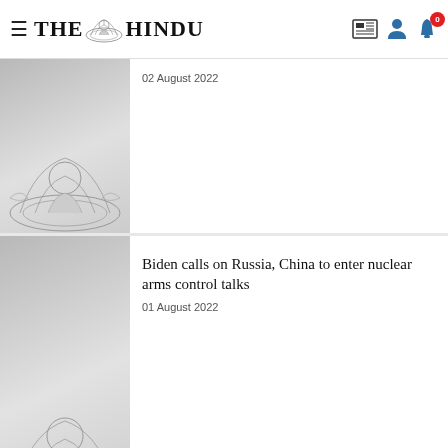THE HINDU
02 August 2022
Biden calls on Russia, China to enter nuclear arms control talks
01 August 2022
Iran says it won't rush into a 'quick' deal amid stalled nuclear talks
25 July 2022